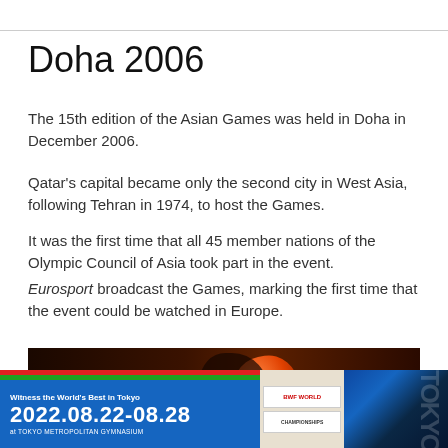Doha 2006
The 15th edition of the Asian Games was held in Doha in December 2006.
Qatar's capital became only the second city in West Asia, following Tehran in 1974, to host the Games.
It was the first time that all 45 member nations of the Olympic Council of Asia took part in the event.
Eurosport broadcast the Games, marking the first time that the event could be watched in Europe.
[Figure (photo): Dark reddish-brown sports photo showing an athlete silhouette with a large orange ball/orb, appearing to be from the Asian Games 2006]
[Figure (infographic): Advertisement banner for Tokyo 2022.08.22-08.28 at Tokyo Metropolitan Gymnasium with blue, red, and green stripes and badminton players on the right side]